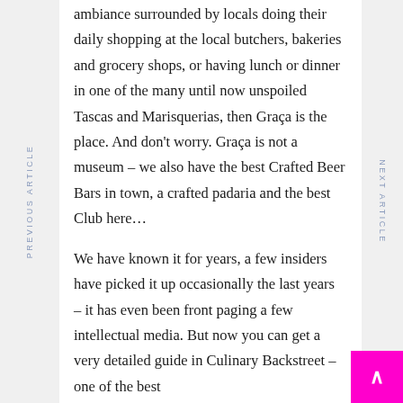ambiance surrounded by locals doing their daily shopping at the local butchers, bakeries and grocery shops, or having lunch or dinner in one of the many until now unspoiled Tascas and Marisquerias, then Graça is the place. And don't worry. Graça is not a museum – we also have the best Crafted Beer Bars in town, a crafted padaria and the best Club here…

We have known it for years, a few insiders have picked it up occasionally the last years – it has even been front paging a few intellectual media. But now you can get a very detailed guide in Culinary Backstreet – one of the best
PREVIOUS ARTICLE
NEXT ARTICLE